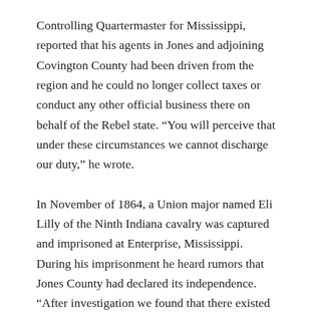Controlling Quartermaster for Mississippi, reported that his agents in Jones and adjoining Covington County had been driven from the region and he could no longer collect taxes or conduct any other official business there on behalf of the Rebel state. “You will perceive that under these circumstances we cannot discharge our duty,” he wrote.
In November of 1864, a Union major named Eli Lilly of the Ninth Indiana cavalry was captured and imprisoned at Enterprise, Mississippi. During his imprisonment he heard rumors that Jones County had declared its independence. “After investigation we found that there existed in Jones County, about thirty miles Southwest of us, an organization called “The Republic of Jones” which held supreme control over Jones County and the surrounding country,” Lilly recalled years later.